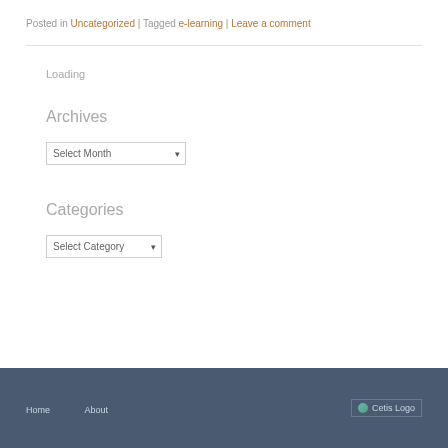Posted in Uncategorized | Tagged e-learning | Leave a comment
Loading
Archives
Select Month (dropdown)
Categories
Select Category (dropdown)
Home   About   Cetis Logo